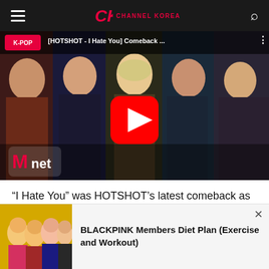Channel Korea navigation bar with hamburger menu, CK Channel Korea logo, and search icon
[Figure (screenshot): YouTube video thumbnail showing HOTSHOT K-pop group members performing on Mnet stage. Video title: [HOTSHOT - I Hate You] Comeback... with YouTube play button overlay and K-POP badge and Mnet logo.]
“I Hate You” was HOTSHOT’s latest comeback as a group up to this year. Different than their prior songs, this song is a ballad song filled with not too many choreography points. The
[Figure (photo): Ad banner showing BLACKPINK members group photo with text: BLACKPINK Members Diet Plan (Exercise and Workout)]